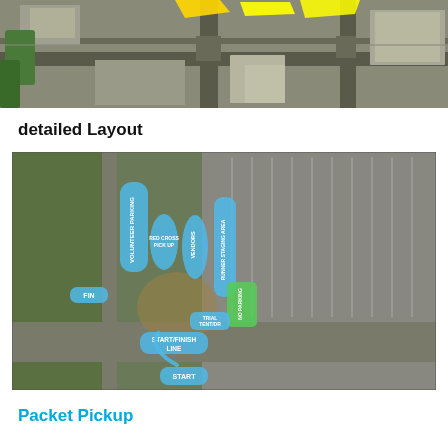[Figure (map): Aerial/satellite view of a town intersection showing roads and buildings, with yellow highlighted markers indicating a race course or route path.]
detailed Layout
[Figure (map): Detailed satellite layout map of a race event venue with blue highlighted zones labeled: VOLUNTEER PARKING, RED CROSS PICK UP, VENDORS, RUNNER STAGING AREA, FIN (finish), NO PARKING, TRIAL TENT/DR, START/FINISH LINE, START. Green zone also visible. Blue arrows indicate route direction.]
Packet Pickup